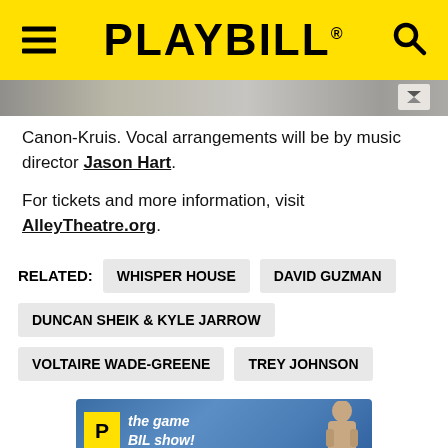PLAYBILL
[Figure (photo): Partial image strip visible at top of content area]
Canon-Kruis. Vocal arrangements will be by music director Jason Hart.
For tickets and more information, visit AlleyTheatre.org.
RELATED: WHISPER HOUSE  DAVID GUZMAN  DUNCAN SHEIK & KYLE JARROW  VOLTAIRE WADE-GREENE  TREY JOHNSON
[Figure (screenshot): Playbill game show promotional image at bottom]